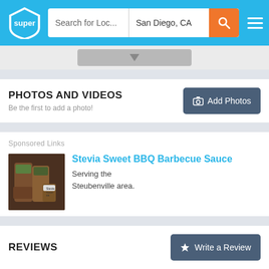super | Search for Loc... | San Diego, CA
[Figure (screenshot): Dropdown indicator button area]
PHOTOS AND VIDEOS
Be the first to add a photo!
[Figure (other): Add Photos button]
Sponsored Links
[Figure (photo): Stevia Sweet BBQ Barbecue Sauce product image showing sauce bottles]
Stevia Sweet BBQ Barbecue Sauce
Serving the Steubenville area.
REVIEWS
[Figure (other): Write a Review button]